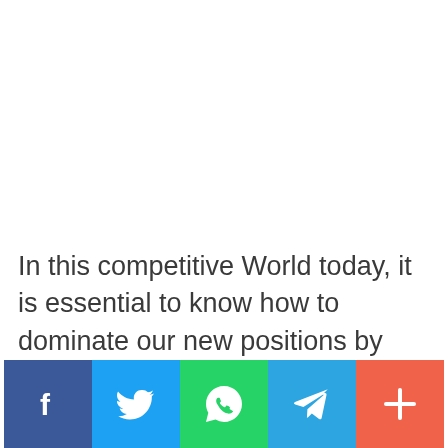In this competitive World today, it is essential to know how to dominate our new positions by working smarter, not harder, for the sake of our personal as well as professional sanity. Following is a list of hacks you can use to be more efficient and productive, working in a smarter and healthier way:
[Figure (other): Social sharing bar with buttons for Facebook, Twitter, WhatsApp, Telegram, and More (+)]